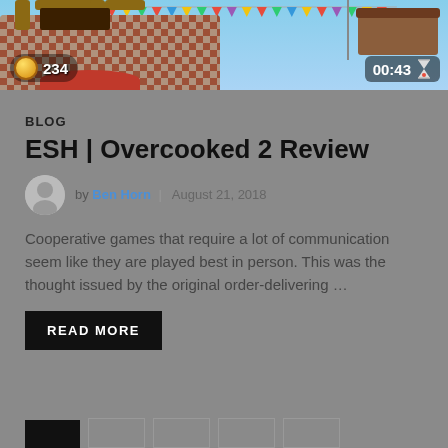[Figure (screenshot): Screenshot of Overcooked 2 video game showing a floating kitchen level with HUD elements: coin count 234 on left, timer 00:43 on right, colorful bunting decorations and hot air balloon in background]
BLOG
ESH | Overcooked 2 Review
by Ben Horn | August 21, 2018
Cooperative games that require a lot of communication seem like they are played best in person. This was the thought issued by the original order-delivering …
READ MORE